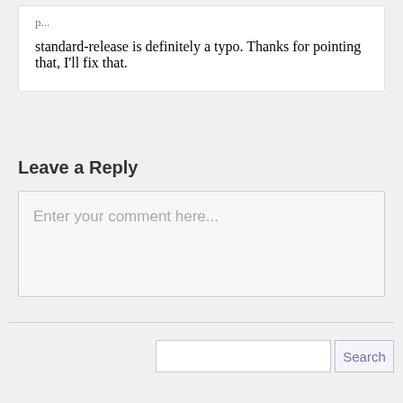standard-release is definitely a typo. Thanks for pointing that, I'll fix that.
Leave a Reply
Enter your comment here...